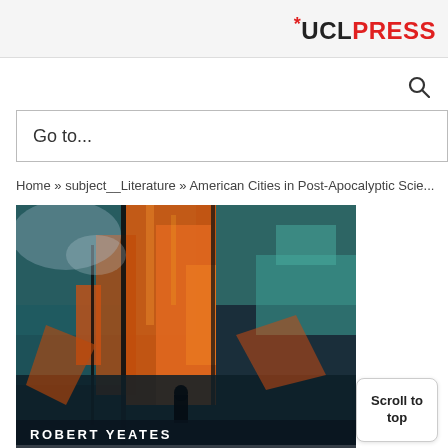*UCL PRESS
[Figure (other): Search icon (magnifying glass)]
Go to...
Home » subject__Literature » American Cities in Post-Apocalyptic Scie...
[Figure (photo): Book cover for 'American Cities in Post-Apocalyptic Science Fiction' by Robert Yeates. Abstract painted imagery in orange, teal, and dark blue tones depicting a fragmented cityscape.]
ROBERT YEATES
Scroll to top